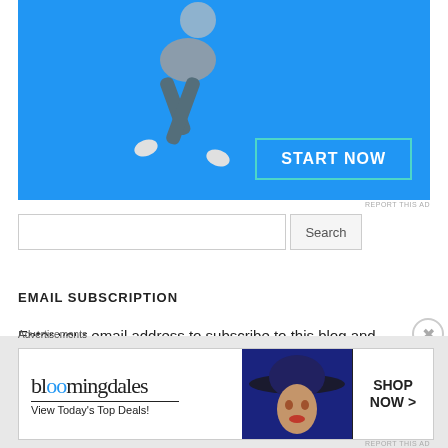[Figure (photo): Blue background advertisement image showing a person in jeans appearing to float/jump, with a 'START NOW' button in the lower right of the ad]
REPORT THIS AD
Search
EMAIL SUBSCRIPTION
Enter your email address to subscribe to this blog and receive notifications of new posts by email.
Advertisements
[Figure (photo): Bloomingdale's advertisement banner showing a woman with a large hat, bloomingdales logo, 'View Today's Top Deals!' text, and 'SHOP NOW >' button]